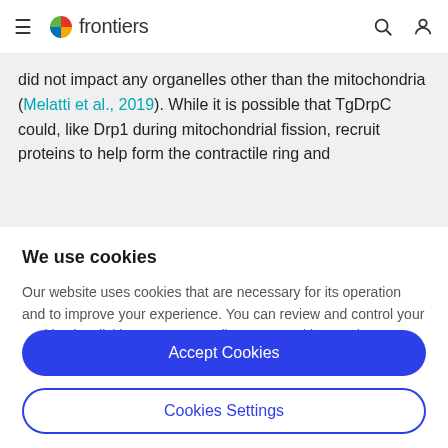frontiers
did not impact any organelles other than the mitochondria (Melatti et al., 2019). While it is possible that TgDrpC could, like Drp1 during mitochondrial fission, recruit proteins to help form the contractile ring and
We use cookies
Our website uses cookies that are necessary for its operation and to improve your experience. You can review and control your cookies by clicking on "Accept All" or on "Cookies Settings".
Accept Cookies
Cookies Settings